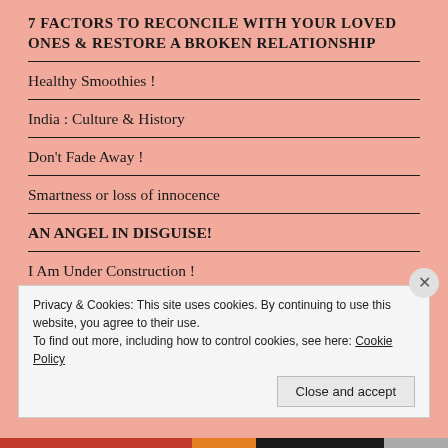7 FACTORS TO RECONCILE WITH YOUR LOVED ONES & RESTORE A BROKEN RELATIONSHIP
Healthy Smoothies !
India : Culture & History
Don't Fade Away !
Smartness or loss of innocence
AN ANGEL IN DISGUISE!
I Am Under Construction !
Privacy & Cookies: This site uses cookies. By continuing to use this website, you agree to their use. To find out more, including how to control cookies, see here: Cookie Policy
Close and accept